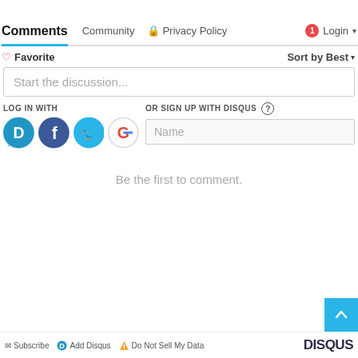Comments  Community  🔒 Privacy Policy  1 Login
♡ Favorite   Sort by Best
Start the discussion...
LOG IN WITH
OR SIGN UP WITH DISQUS ?
Name
Be the first to comment.
✉ Subscribe  D Add Disqus  ⚠ Do Not Sell My Data  DISQUS